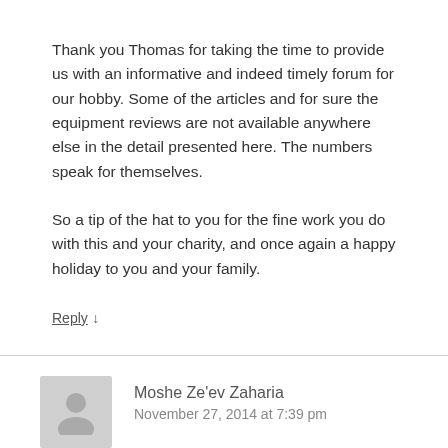Thank you Thomas for taking the time to provide us with an informative and indeed timely forum for our hobby. Some of the articles and for sure the equipment reviews are not available anywhere else in the detail presented here. The numbers speak for themselves.
So a tip of the hat to you for the fine work you do with this and your charity, and once again a happy holiday to you and your family.
Reply ↓
Moshe Ze'ev Zaharia
November 27, 2014 at 7:39 pm